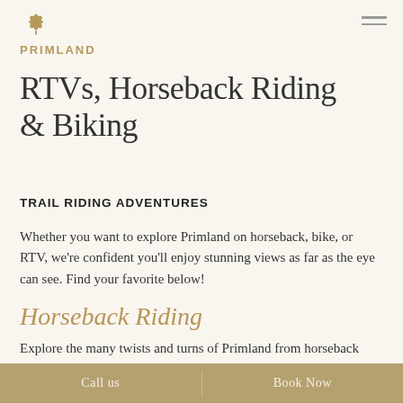PRIMLAND
RTVs, Horseback Riding & Biking
TRAIL RIDING ADVENTURES
Whether you want to explore Primland on horseback, bike, or RTV, we're confident you'll enjoy stunning views as far as the eye can see. Find your favorite below!
Horseback Riding
Explore the many twists and turns of Primland from horseback with a guided ride! Equestrian pursuits are available year-round, weather permitting. For lodging
Call us    Book Now